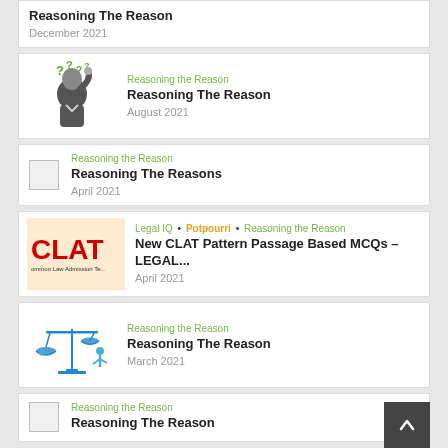Reasoning The Reason
December 2021
Reasoning the Reason | Reasoning The Reason | August 2021
Reasoning the Reason | Reasoning The Reasons | April 2021
Legal IQ • Potpourri • Reasoning the Reason | New CLAT Pattern Passage Based MCQs – LEGAL... | April 2021
Reasoning the Reason | Reasoning The Reason | March 2021
Reasoning the Reason | Reasoning The Reason